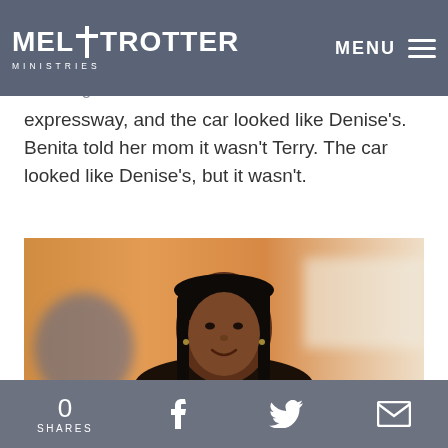Mel Trotter Ministries — MENU
Benita was out with her future husband, Alonzo, when Denise told Benita she had been watching the news and there was an accident on the expressway, and the car looked like Denise's. Benita told her mom it wasn't Terry. The car looked like Denise's, but it wasn't.
[Figure (photo): Portrait photo of a smiling African American woman with straight dark hair, wearing a dark top, photographed indoors with an orange/warm blurred background.]
0 SHARES  [Facebook share icon]  [Twitter share icon]  [Email share icon]